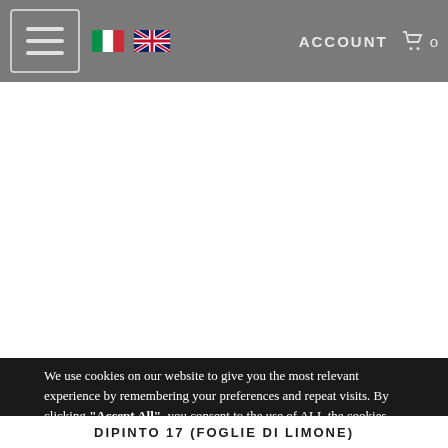ACCOUNT  0
[Figure (screenshot): White blank content area of a webpage]
We use cookies on our website to give you the most relevant experience by remembering your preferences and repeat visits. By clicking “Accept All”, you consent to the use of ALL the cookies. However, you may visit 'Cookie Settings' to provide a controlled consent.
Cookie Settings   Read More
Cookie Settings   Accept   Reject All
DIPINTO 17 (FOGLIE DI LIMONE)